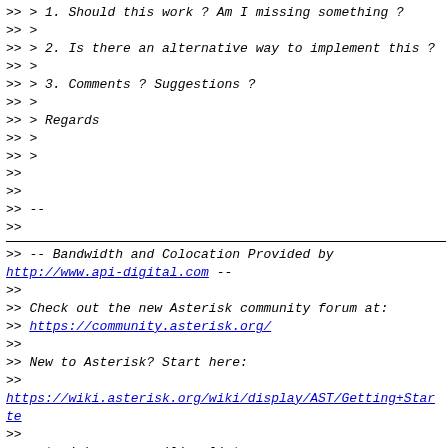>> > 1. Should this work ? Am I missing something ?
>> >
>> > 2. Is there an alternative way to implement this ?
>> >
>> > 3. Comments ? Suggestions ?
>> >
>> > Regards
>> >
>> >
>>
>>
>> --
>>
>> -- Bandwidth and Colocation Provided by http://www.api-digital.com --
>>
>> Check out the new Asterisk community forum at:
>> https://community.asterisk.org/
>>
>> New to Asterisk? Start here:
>>
>> https://wiki.asterisk.org/wiki/display/AST/Getting+Starte
>>
>> asterisk-users mailing list
>> To UNSUBSCRIBE or update options visit:
>>
>> http://lists.digium.com/mailman/listinfo/asterisk-users
>>
>
>